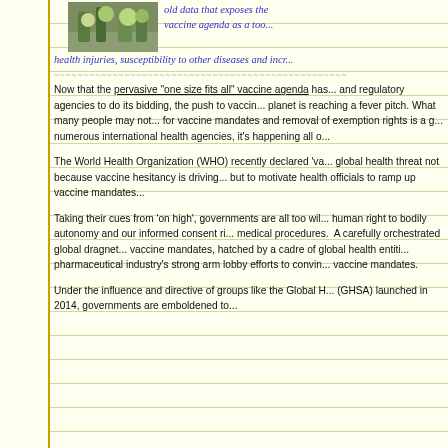[Figure (photo): Small photo of plants/nature scene at top of page]
old data that exposes the vaccine agenda as a too... health injuries, susceptibility to other diseases and incr...
~~~~~~~~~~~~~~~~~~~~~~~~~~~~~~~~~~~~~~~~~~~~~~~~
Now that the pervasive "one size fits all" vaccine agenda has... and regulatory agencies to do its bidding, the push to vaccin... planet is reaching a fever pitch. What many people may not... for vaccine mandates and removal of exemption rights is a g... numerous international health agencies, it's happening all o...
The World Health Organization (WHO) recently declared 'va... global health threat not because vaccine hesitancy is driving... but to motivate health officials to ramp up vaccine mandates...
Taking their cues from 'on high', governments are all too wil... human right to bodily autonomy and our informed consent ri... medical procedures. A carefully orchestrated global dragnet... vaccine mandates, hatched by a cadre of global health entiti... pharmaceutical industry's strong arm lobby efforts to convin... vaccine mandates.
Under the influence and directive of groups like the Global H... (GHSA) launched in 2014, governments are emboldened to...